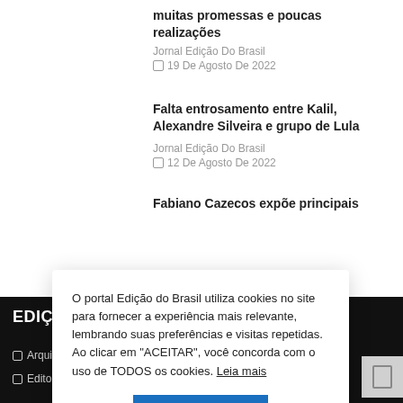muitas promessas e poucas realizações
Jornal Edição Do Brasil
19 De Agosto De 2022
Falta entrosamento entre Kalil, Alexandre Silveira e grupo de Lula
Jornal Edição Do Brasil
12 De Agosto De 2022
Fabiano Cazecos expõe principais
O portal Edição do Brasil utiliza cookies no site para fornecer a experiência mais relevante, lembrando suas preferências e visitas repetidas. Ao clicar em "ACEITAR", você concorda com o uso de TODOS os cookies. Leia mais
ACEITAR
EDIÇÃO DO B
Arquivo de jorna
Editorial